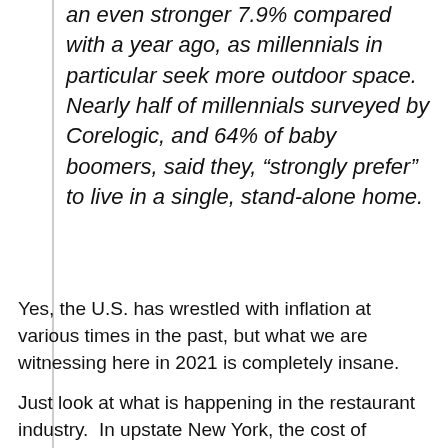an even stronger 7.9% compared with a year ago, as millennials in particular seek more outdoor space. Nearly half of millennials surveyed by Corelogic, and 64% of baby boomers, said they, “strongly prefer” to live in a single, stand-alone home.
Yes, the U.S. has wrestled with inflation at various times in the past, but what we are witnessing here in 2021 is completely insane.
Just look at what is happening in the restaurant industry.  In upstate New York, the cost of